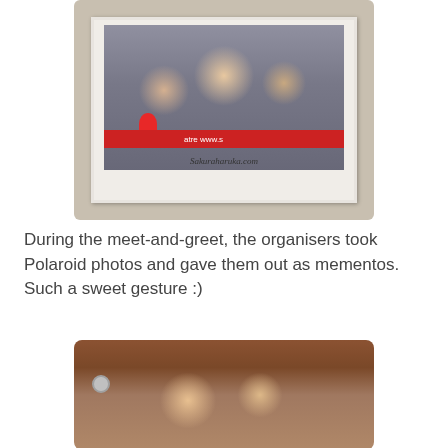[Figure (photo): A Polaroid-style group photo showing several people in costumes at a meet-and-greet event. One person is wearing a monster/plant head costume, another wears a pharaoh/Egyptian costume. A woman and man with glasses pose with a young girl. The photo has a watermark 'Sakuraharuka.com' and a red banner at the bottom with partial text 'atre www.s'. A hand holding the Polaroid is visible, with a red-painted fingernail.]
During the meet-and-greet, the organisers took Polaroid photos and gave them out as mementos. Such a sweet gesture :)
[Figure (photo): A photo of two smiling females — a woman and a young girl — standing in front of a wooden door with a silver door handle. Both appear to be holding small items (possibly candy/lollipops) up to their mouths.]